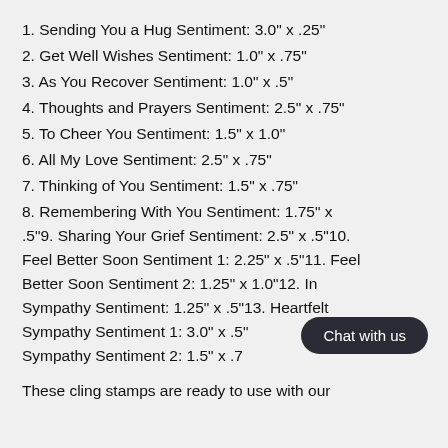1. Sending You a Hug Sentiment: 3.0" x .25"
2. Get Well Wishes Sentiment: 1.0" x .75"
3. As You Recover Sentiment: 1.0" x .5"
4. Thoughts and Prayers Sentiment: 2.5" x .75"
5. To Cheer You Sentiment: 1.5" x 1.0"
6. All My Love Sentiment: 2.5" x .75"
7. Thinking of You Sentiment: 1.5" x .75"
8. Remembering With You Sentiment: 1.75" x .5"9. Sharing Your Grief Sentiment: 2.5" x .5"10. Feel Better Soon Sentiment 1: 2.25" x .5"11. Feel Better Soon Sentiment 2: 1.25" x 1.0"12. In Sympathy Sentiment: 1.25" x .5"13. Heartfelt Sympathy Sentiment 1: 3.0" x .5"14. Heartfelt Sympathy Sentiment 2: 1.5" x .75"
These cling stamps are ready to use with our